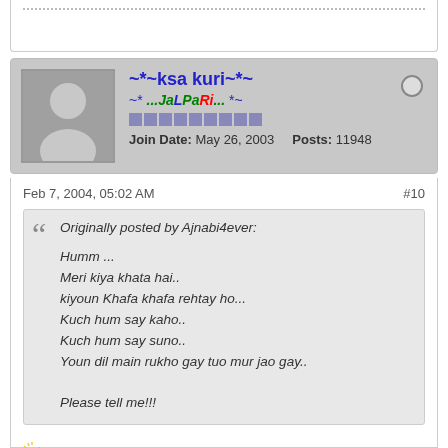[partial top post content — dotted separator]
~*~ksa kuri~*~
~* ...JaLPaRi... *~
Join Date: May 26, 2003   Posts: 11948
Feb 7, 2004, 05:02 AM   #10
Originally posted by Ajnabi4ever:
Humm ...
Meri kiya khata hai..
kiyoun Khafa khafa rehtay ho...
Kuch hum say kaho..
Kuch hum say suno..
Youn dil main rukho gay tuo mur jao gay..

Please tell me!!!
[Figure (illustration): Waving hand / clapping emoji/smiley icon]
app ke room mein window hai????